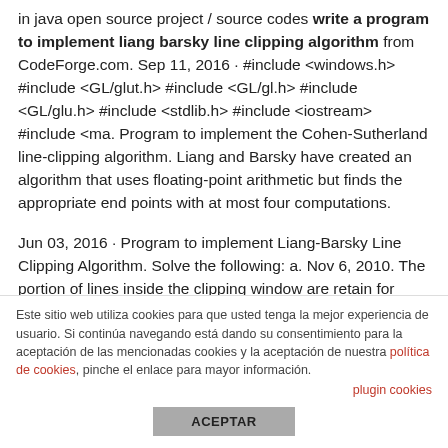in java open source project / source codes write a program to implement liang barsky line clipping algorithm from CodeForge.com. Sep 11, 2016 · #include <windows.h> #include <GL/glut.h> #include <GL/gl.h> #include <GL/glu.h> #include <stdlib.h> #include <iostream> #include <ma. Program to implement the Cohen-Sutherland line-clipping algorithm. Liang and Barsky have created an algorithm that uses floating-point arithmetic but finds the appropriate end points with at most four computations.
Jun 03, 2016 · Program to implement Liang-Barsky Line Clipping Algorithm. Solve the following: a. Nov 6, 2010. The portion of lines inside the clipping window are retain for display. Oct 26, 2013 · to implement lealx...
Este sitio web utiliza cookies para que usted tenga la mejor experiencia de usuario. Si continúa navegando está dando su consentimiento para la aceptación de las mencionadas cookies y la aceptación de nuestra política de cookies, pinche el enlace para mayor información.